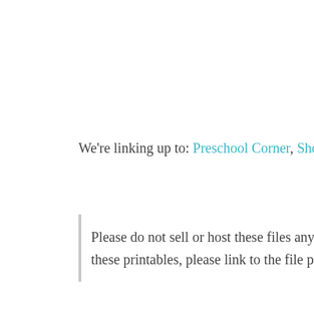We're linking up to: Preschool Corner, Show & Tell Blog Hop, and Link & Learn.
Please do not sell or host these files anywhere else. You may use them here. When leading others to these printables, please link to the file page. Thanks! (See TOU)
June 17, 2011 — 27 Comments (Filed Under: Ice Cream, Printables, Summer Fun )
Comments